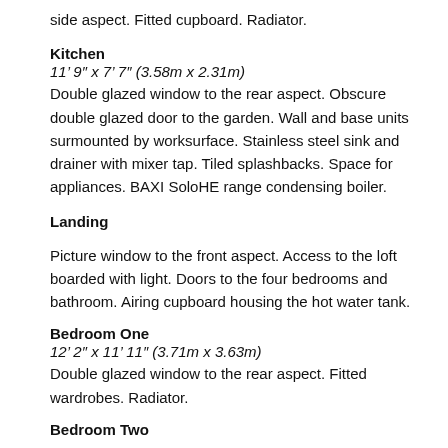side aspect. Fitted cupboard. Radiator.
Kitchen
11’ 9″ x 7’ 7″ (3.58m x 2.31m)
Double glazed window to the rear aspect. Obscure double glazed door to the garden. Wall and base units surmounted by worksurface. Stainless steel sink and drainer with mixer tap. Tiled splashbacks. Space for appliances. BAXI SoloHE range condensing boiler.
Landing
Picture window to the front aspect. Access to the loft boarded with light. Doors to the four bedrooms and bathroom. Airing cupboard housing the hot water tank.
Bedroom One
12’ 2″ x 11’ 11″ (3.71m x 3.63m)
Double glazed window to the rear aspect. Fitted wardrobes. Radiator.
Bedroom Two